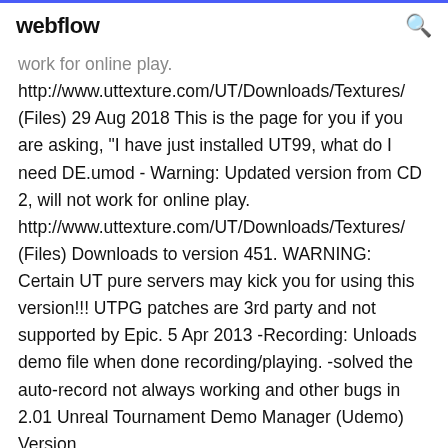webflow [search icon]
work for online play. http://www.uttexture.com/UT/Downloads/Textures/ (Files) 29 Aug 2018 This is the page for you if you are asking, "I have just installed UT99, what do I need DE.umod - Warning: Updated version from CD 2, will not work for online play. http://www.uttexture.com/UT/Downloads/Textures/ (Files) Downloads to version 451. WARNING: Certain UT pure servers may kick you for using this version!!! UTPG patches are 3rd party and not supported by Epic. 5 Apr 2013 -Recording: Unloads demo file when done recording/playing. -solved the auto-record not always working and other bugs in 2.01 Unreal Tournament Demo Manager (Udemo) Version